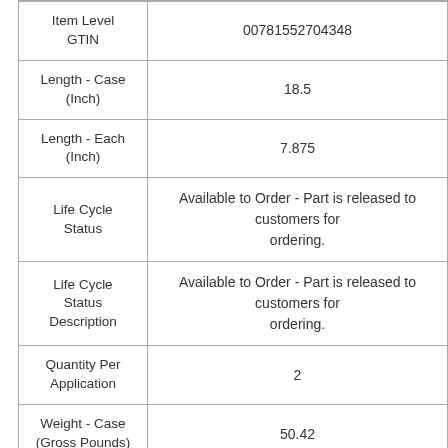| Attribute | Value |
| --- | --- |
| Item Level GTIN | 00781552704348 |
| Length - Case (Inch) | 18.5 |
| Length - Each (Inch) | 7.875 |
| Life Cycle Status | Available to Order - Part is released to customers for ordering. |
| Life Cycle Status Description | Available to Order - Part is released to customers for ordering. |
| Quantity Per Application | 2 |
| Weight - Case (Gross Pounds) | 50.42 |
| Weight - Each | 3.02 |